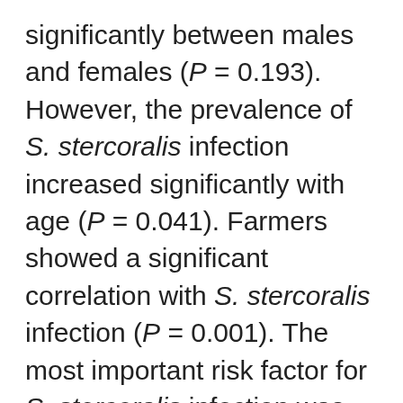significantly between males and females (P = 0.193). However, the prevalence of S. stercoralis infection increased significantly with age (P = 0.041). Farmers showed a significant correlation with S. stercoralis infection (P = 0.001). The most important risk factor for S. stercoralis infection was failure to wear shoes when